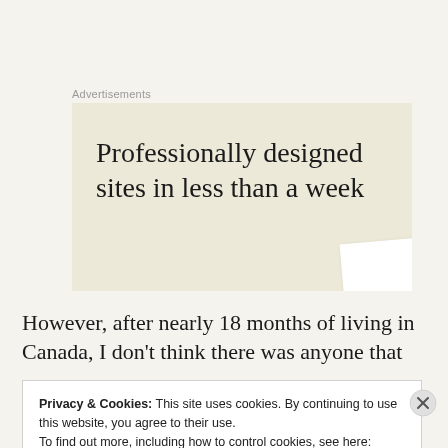Advertisements
[Figure (illustration): Advertisement banner with beige/cream background showing text 'Professionally designed sites in less than a week' with a white card element in the bottom right corner.]
However, after nearly 18 months of living in Canada, I don't think there was anyone that
Privacy & Cookies: This site uses cookies. By continuing to use this website, you agree to their use.
To find out more, including how to control cookies, see here: Cookie Policy
Close and accept